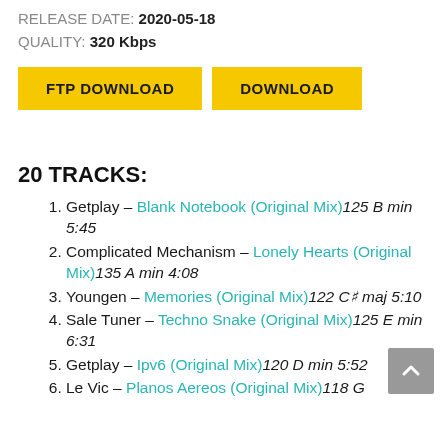RELEASE DATE: 2020-05-18
QUALITY: 320 Kbps
FTP DOWNLOAD
DOWNLOAD
20 TRACKS:
Getplay – Blank Notebook (Original Mix) 125 B min 5:45
Complicated Mechanism – Lonely Hearts (Original Mix) 135 A min 4:08
Youngen – Memories (Original Mix) 122 C# maj 5:10
Sale Tuner – Techno Snake (Original Mix) 125 E min 6:31
Getplay – Ipv6 (Original Mix) 120 D min 5:52
Le Vic – Planos Aereos (Original Mix) 118 G min 7:01